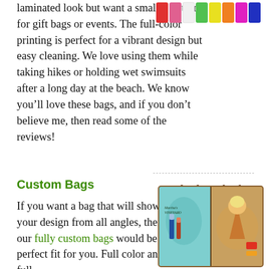laminated look but want a smaller option for gift bags or events. The full-color printing is perfect for a vibrant design but easy cleaning. We love using them while taking hikes or holding wet swimsuits after a long day at the beach. We know you'll love these bags, and if you don't believe me, then read some of the reviews!
[Figure (illustration): Row of colorful bags/pouches showing various colors including red, pink, white, green, yellow, orange, magenta, and blue]
Custom Bags
If you want a bag that will show off your design from all angles, then our fully custom bags would be a perfect fit for you. Full color and full
[Figure (illustration): Custom bag with colorful artwork showing Martha's Vineyard design with bottles, beach items and vibrant colors]